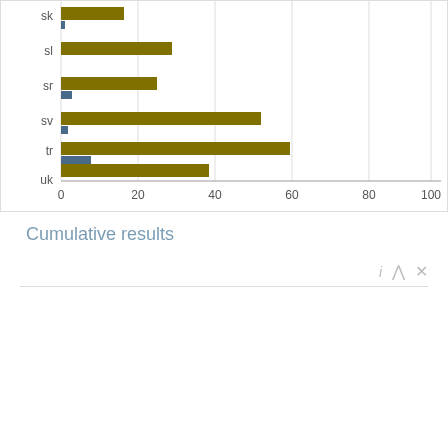[Figure (bar-chart): Horizontal bar chart partial view]
Cumulative results
[Figure (infographic): Legend panel showing language color codes: ar (red), bg (dark blue), ca (teal), cs (salmon), da (mint), el (teal-green), no (dark slate), pl (medium teal), pt (salmon-pink), ro (light mint), ru (medium green), simple (olive). Right side shows 'Cumulative results' title, subtitle '"Opel Astra" in different languages by WikiRank.net', and a dark blue calculator icon circle.]